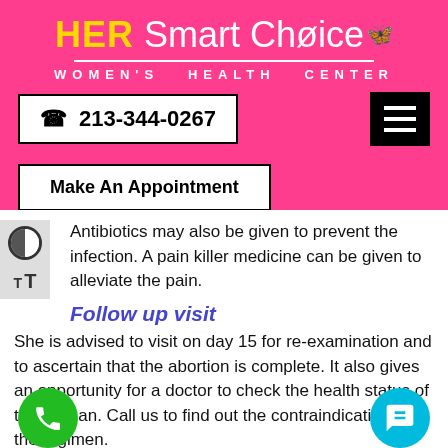[Figure (logo): HER Smart Choice Women's Health Center logo on pink background]
213-344-0267
Make An Appointment
Antibiotics may also be given to prevent the infection. A pain killer medicine can be given to alleviate the pain.
Follow up visit
She is advised to visit on day 15 for re-examination and to ascertain that the abortion is complete. It also gives an opportunity for a doctor to check the health status of the woman. Call us to find out the contraindications of the regimen.